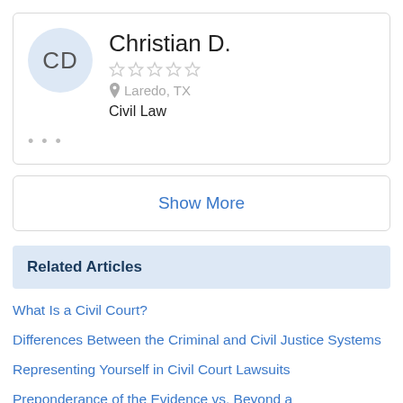CD — Christian D. | Laredo, TX | Civil Law
Show More
Related Articles
What Is a Civil Court?
Differences Between the Criminal and Civil Justice Systems
Representing Yourself in Civil Court Lawsuits
Preponderance of the Evidence vs. Beyond a Reasonable Doubt